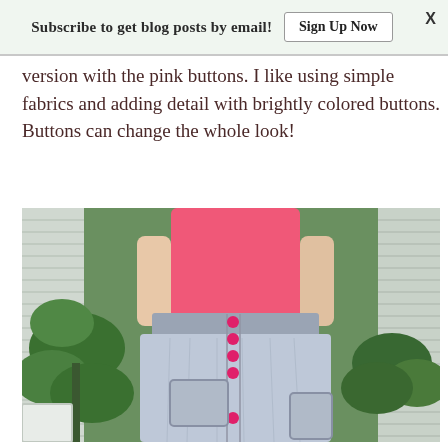Subscribe to get blog posts by email!  Sign Up Now  X
version with the pink buttons. I like using simple fabrics and adding detail with brightly colored buttons. Buttons can change the whole look!
[Figure (photo): A child wearing a bright pink top and a grey button-front skirt with pink buttons and large pockets, standing in front of green plants and painted siding.]